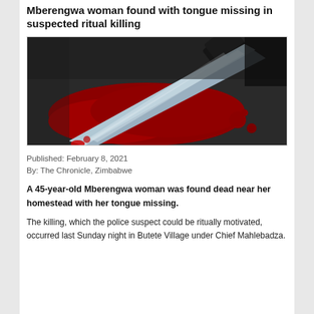Mberengwa woman found with tongue missing in suspected ritual killing
[Figure (photo): A bloody knife lying on a red blood pool, close-up photograph]
Published: February 8, 2021
By: The Chronicle, Zimbabwe
A 45-year-old Mberengwa woman was found dead near her homestead with her tongue missing.
The killing, which the police suspect could be ritually motivated, occurred last Sunday night in Butete Village under Chief Mahlebadza.